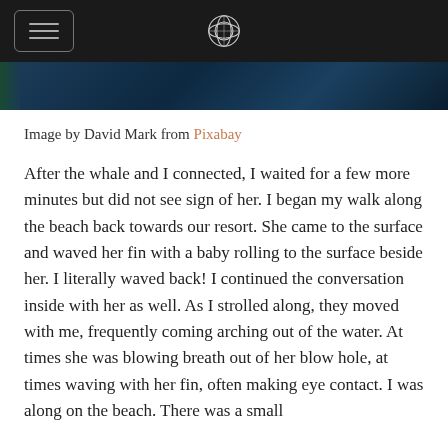[Navigation header with hamburger menu and logo]
[Figure (photo): Partial view of a dark ocean/water photo, dark blue tones]
Image by David Mark from Pixabay
After the whale and I connected, I waited for a few more minutes but did not see sign of her. I began my walk along the beach back towards our resort. She came to the surface and waved her fin with a baby rolling to the surface beside her. I literally waved back! I continued the conversation inside with her as well. As I strolled along, they moved with me, frequently coming arching out of the water. At times she was blowing breath out of her blow hole, at times waving with her fin, often making eye contact. I was along on the beach. There was a small